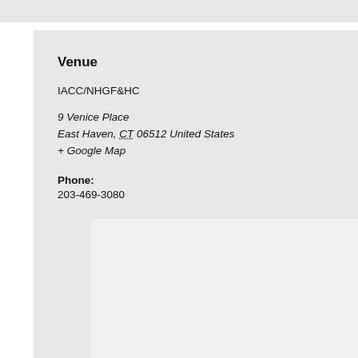Venue
IACC/NHGF&HC
9 Venice Place
East Haven, CT 06512 United States
+ Google Map
Phone:
203-469-3080
[Figure (map): Google Map placeholder area showing a light grey map region]